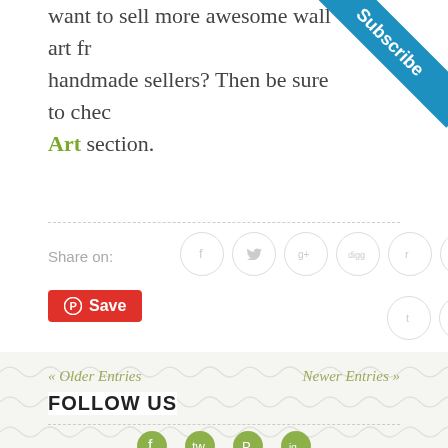Love this Hello Sunshine Wooden... want to sell more awesome wall art from handmade sellers? Then be sure to check our Art section.
[Figure (infographic): Blue diagonal subscribe banner in top-right corner]
Share on:
[Figure (infographic): Social sharing icons: Facebook, Twitter, Google+, Digg, Reddit, StumbleUpon in circles; Tumblr and Email in second row; Pinterest Save button]
« Older Entries
Newer Entries »
FOLLOW US
[Figure (infographic): Follow us social media icons: Facebook, Twitter, Pinterest, Instagram]